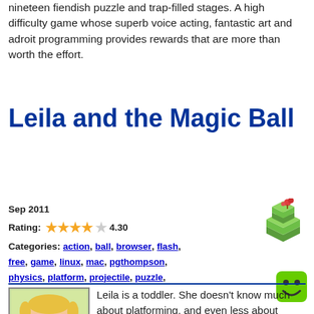nineteen fiendish puzzle and trap-filled stages. A high difficulty game whose superb voice acting, fantastic art and adroit programming provides rewards that are more than worth the effort.
Leila and the Magic Ball
Sep 2011
Rating: 4.30
Categories: action, ball, browser, flash, free, game, linux, mac, pgthompson, physics, platform, projectile, puzzle, rating-g, windows
[Figure (illustration): Small isometric game icon showing colorful grass/platform tiles]
[Figure (illustration): Green smiley face icon]
Leila is a toddler. She doesn't know much about platforming, and even less about physics. All she knows is that she wants her bottle, and there are all sorts of 2x4s and I-beams standing between in her way. Fortunately though, she has an ally: a ball that she can call to her hand; a ball that will smash against anything in its path and which is just perfect for bouncing off from. She's got a lot of places to explore, and